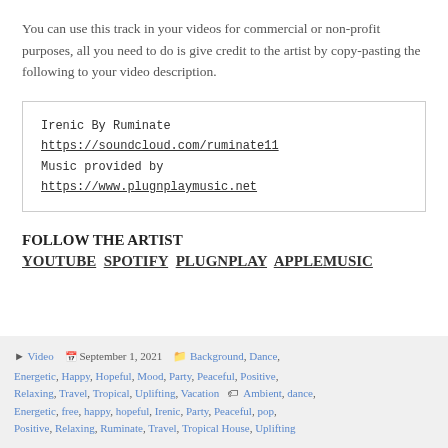You can use this track in your videos for commercial or non-profit purposes, all you need to do is give credit to the artist by copy-pasting the following to your video description.
Irenic By Ruminate
https://soundcloud.com/ruminate11
Music provided by
https://www.plugnplaymusic.net
FOLLOW THE ARTIST
YOUTUBE  SPOTIFY  PLUGNPLAY  APPLEMUSIC
▶ Video  📅 September 1, 2021  🗂 Background, Dance, Energetic, Happy, Hopeful, Mood, Party, Peaceful, Positive, Relaxing, Travel, Tropical, Uplifting, Vacation  🏷 Ambient, dance, Energetic, free, happy, hopeful, Irenic, Party, Peaceful, pop, Positive, Relaxing, Ruminate, Travel, Tropical House, Uplifting